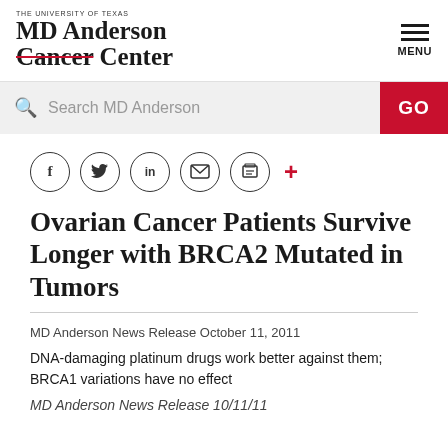THE UNIVERSITY OF TEXAS MD Anderson Cancer Center
[Figure (logo): MD Anderson Cancer Center logo with 'Cancer' struck through in red]
[Figure (screenshot): Search bar with 'Search MD Anderson' placeholder and red GO button]
[Figure (infographic): Social media share icons: Facebook, Twitter, LinkedIn, email, print, and red plus sign]
Ovarian Cancer Patients Survive Longer with BRCA2 Mutated in Tumors
MD Anderson News Release October 11, 2011
DNA-damaging platinum drugs work better against them; BRCA1 variations have no effect
MD Anderson News Release 10/11/11